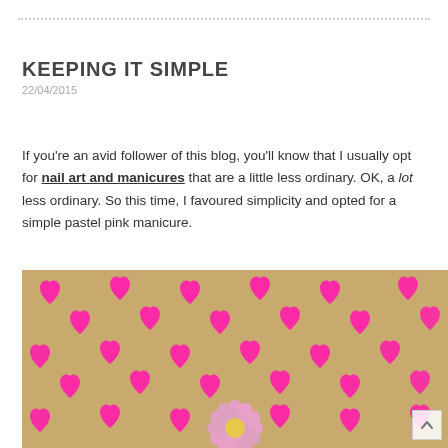KEEPING IT SIMPLE
22/04/2015
If you're an avid follower of this blog, you'll know that I usually opt for nail art and manicures that are a little less ordinary. OK, a lot less ordinary. So this time, I favoured simplicity and opted for a simple pastel pink manicure.
[Figure (photo): A background covered in hot pink heart patterns on a tan/kraft paper background, with a pink daisy flower in the lower center portion of the image.]